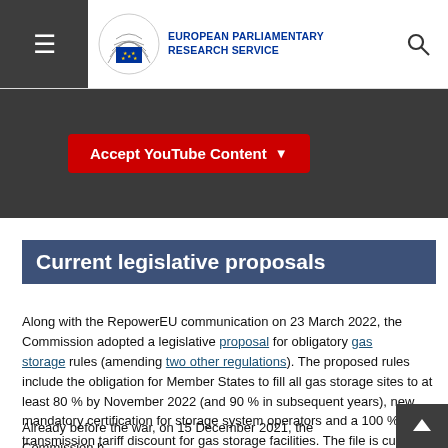European Parliamentary Research Service
[Figure (screenshot): Accept YouTube Content button on dark background]
Current legislative proposals
Along with the RepowerEU communication on 23 March 2022, the Commission adopted a legislative proposal for obligatory gas storage rules (amending two other regulations). The proposed rules include the obligation for Member States to fill all gas storage sites to at least 80 % by November 2022 (and 90 % in subsequent years), new mandatory certification for storage system operators and a 100 % transmission tariff discount for gas storage facilities. The file is currently being negotiated by the co-legislators under an urgent procedure, so that it can take effect from summer 2022.
Already before the war, on 15 December 2021, the Commission had adopted a hydrogen and decarbonised gas markets package